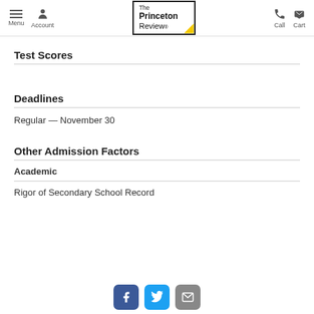The Princeton Review — Menu, Account, Call, Cart navigation
Test Scores
Deadlines
Regular — November 30
Other Admission Factors
Academic
Rigor of Secondary School Record
Facebook, Twitter, Email social icons